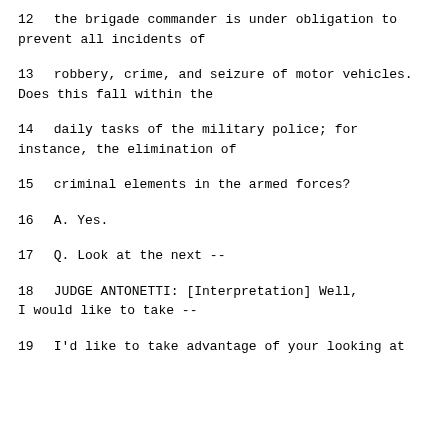12     the brigade commander is under obligation to prevent all incidents of
13     robbery, crime, and seizure of motor vehicles. Does this fall within the
14     daily tasks of the military police; for instance, the elimination of
15     criminal elements in the armed forces?
16        A.   Yes.
17        Q.   Look at the next --
18             JUDGE ANTONETTI: [Interpretation] Well, I would like to take --
19     I'd like to take advantage of your looking at